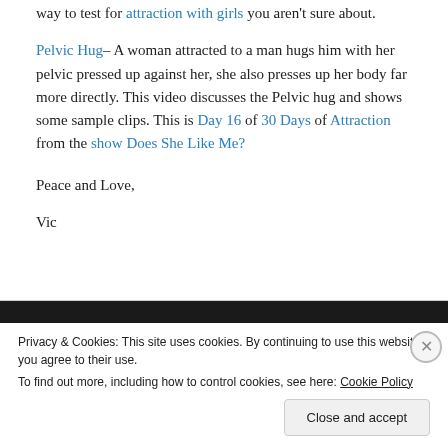way to test for attraction with girls you aren't sure about.
Pelvic Hug– A woman attracted to a man hugs him with her pelvic pressed up against her, she also presses up her body far more directly. This video discusses the Pelvic hug and shows some sample clips. This is Day 16 of 30 Days of Attraction from the show Does She Like Me?
Peace and Love,
Vic
Privacy & Cookies: This site uses cookies. By continuing to use this website, you agree to their use.
To find out more, including how to control cookies, see here: Cookie Policy